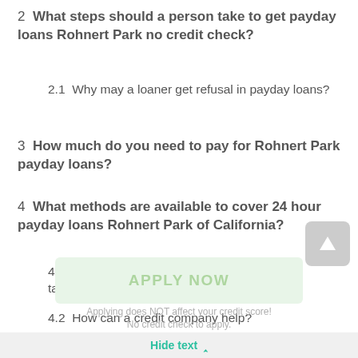2  What steps should a person take to get payday loans Rohnert Park no credit check?
2.1  Why may a loaner get refusal in payday loans?
3  How much do you need to pay for Rohnert Park payday loans?
4  What methods are available to cover 24 hour payday loans Rohnert Park of California?
4.1  What alternatives are available not to take payday loans Rohnert Park online?
4.2  How can a credit company help?
APPLY NOW
Applying does NOT affect your credit score!
No credit check to apply.
Hide text ∧